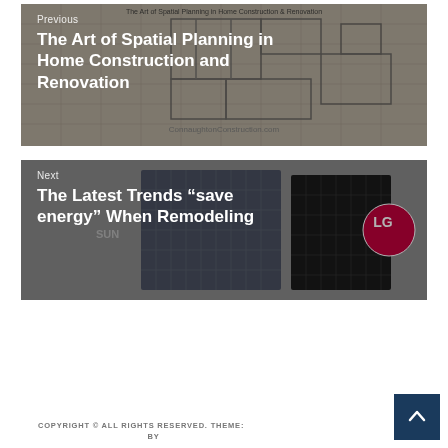[Figure (illustration): Navigation block for previous post: blueprint/construction drawing background with text overlay showing 'Previous' label and title 'The Art of Spatial Planning in Home Construction and Renovation']
[Figure (illustration): Navigation block for next post: solar panels and LG logo background with text overlay showing 'Next' label and title 'The Latest Trends "save energy" When Remodeling']
COPYRIGHT © ALL RIGHTS RESERVED. THEME: BY